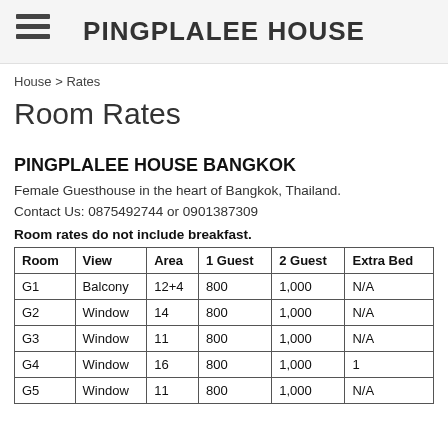PINGPLALEE HOUSE
House > Rates
Room Rates
PINGPLALEE HOUSE BANGKOK
Female Guesthouse in the heart of Bangkok, Thailand.
Contact Us: 0875492744 or 0901387309
Room rates do not include breakfast.
| Room | View | Area | 1 Guest | 2 Guest | Extra Bed |
| --- | --- | --- | --- | --- | --- |
| G1 | Balcony | 12+4 | 800 | 1,000 | N/A |
| G2 | Window | 14 | 800 | 1,000 | N/A |
| G3 | Window | 11 | 800 | 1,000 | N/A |
| G4 | Window | 16 | 800 | 1,000 | 1 |
| G5 | Window | 11 | 800 | 1,000 | N/A |